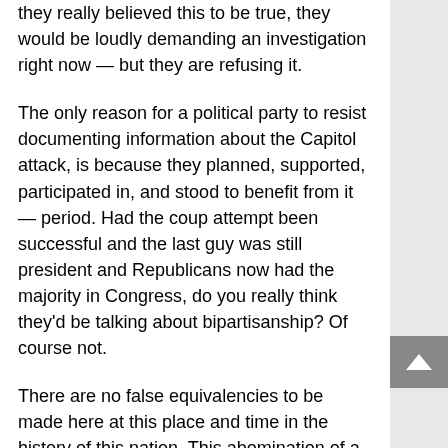they really believed this to be true, they would be loudly demanding an investigation right now — but they are refusing it.
The only reason for a political party to resist documenting information about the Capitol attack, is because they planned, supported, participated in, and stood to benefit from it — period. Had the coup attempt been successful and the last guy was still president and Republicans now had the majority in Congress, do you really think they'd be talking about bipartisanship? Of course not.
There are no false equivalencies to be made here at this place and time in the history of this nation. This abomination of a political party is now nothing more than a death cult whose sole platform is appeasing, pleasing, and defending a wannabe despot. To elevate them to something worthy of partnership is political